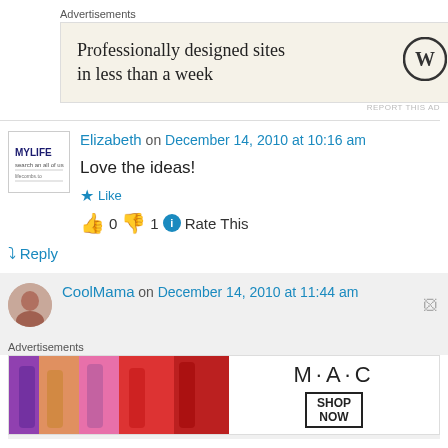Advertisements
[Figure (screenshot): WordPress advertisement: 'Professionally designed sites in less than a week' with WordPress logo]
REPORT THIS AD
Elizabeth on December 14, 2010 at 10:16 am
Love the ideas!
Like
0  1  Rate This
Reply
CoolMama on December 14, 2010 at 11:44 am
Advertisements
[Figure (screenshot): MAC cosmetics advertisement showing lipsticks with SHOP NOW button]